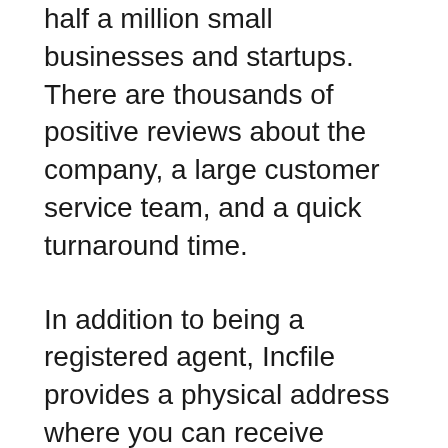half a million small businesses and startups. There are thousands of positive reviews about the company, a large customer service team, and a quick turnaround time.
In addition to being a registered agent, Incfile provides a physical address where you can receive notices, receive and process documents, and keep track of them. The registered agent service comes with a free one-year plan, but after that it costs $119 a year. The online dashboard of your registered agents is available to you at all times during the first year. You can also set up alerts for important dates such as incorporation.
If you're on a budget, Incfile's services are